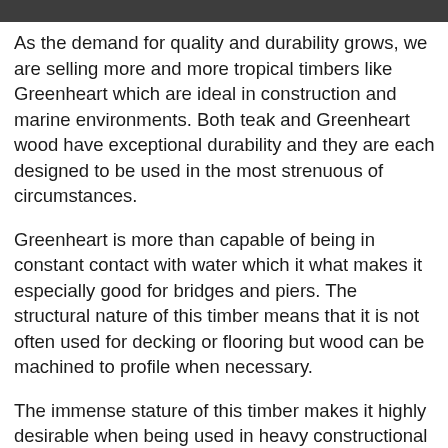As the demand for quality and durability grows, we are selling more and more tropical timbers like Greenheart which are ideal in construction and marine environments. Both teak and Greenheart wood have exceptional durability and they are each designed to be used in the most strenuous of circumstances.
Greenheart is more than capable of being in constant contact with water which it what makes it especially good for bridges and piers. The structural nature of this timber means that it is not often used for decking or flooring but wood can be machined to profile when necessary.
The immense stature of this timber makes it highly desirable when being used in heavy constructional and marine environments because it has a long lifespan and can last over 20 years. The timber will